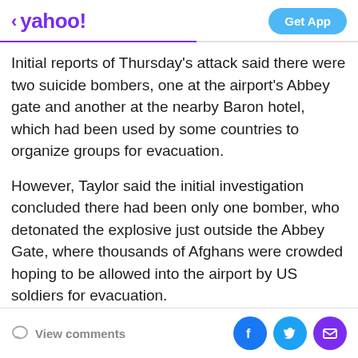< yahoo! | Get App
Initial reports of Thursday's attack said there were two suicide bombers, one at the airport's Abbey gate and another at the nearby Baron hotel, which had been used by some countries to organize groups for evacuation.
However, Taylor said the initial investigation concluded there had been only one bomber, who detonated the explosive just outside the Abbey Gate, where thousands of Afghans were crowded hoping to be allowed into the airport by US soldiers for evacuation.
The huge explosion was followed by "direct fire" from one or more gunmen, details on which remain unknown.
View comments